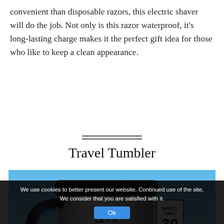convenient than disposable razors, this electric shaver will do the job. Not only is this razor waterproof, it's long-lasting charge makes it the perfect gift idea for those who like to keep a clean appearance.
Travel Tumbler
[Figure (photo): A stainless steel travel tumbler with a black lid and handle, with 'LET'S TRUCK' text printed on it, photographed outdoors with a blue sky background and a speed limit sign visible.]
We use cookies to better present our website. Continued use of the site, We consider that you are satisfied with it.